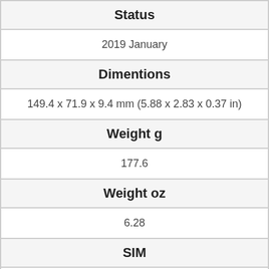| Status | Dimentions | Weight g | Weight oz | SIM |
| --- | --- | --- | --- | --- |
| 2019 January |
| 149.4 x 71.9 x 9.4 mm (5.88 x 2.83 x 0.37 in) |
| 177.6 |
| 6.28 |
| Dual SIM (Micro-SIM, dual stand-by) |